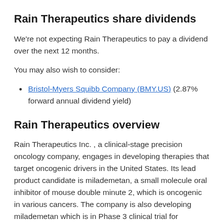Rain Therapeutics share dividends
We're not expecting Rain Therapeutics to pay a dividend over the next 12 months.
You may also wish to consider:
Bristol-Myers Squibb Company (BMY.US) (2.87% forward annual dividend yield)
Rain Therapeutics overview
Rain Therapeutics Inc. , a clinical-stage precision oncology company, engages in developing therapies that target oncogenic drivers in the United States. Its lead product candidate is milademetan, a small molecule oral inhibitor of mouse double minute 2, which is oncogenic in various cancers. The company is also developing milademetan which is in Phase 3 clinical trial for liposarcoma, Phase II